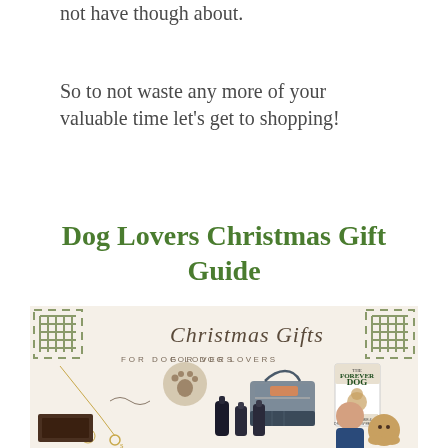not have though about.
So to not waste any more of your valuable time let’s get to shopping!
Dog Lovers Christmas Gift Guide
[Figure (illustration): Collage image showing Christmas Gifts for Dog Lovers including jewelry, a paw print pendant, a dog travel bag, The Forever Dog book, grooming products, and a woman with a golden retriever.]